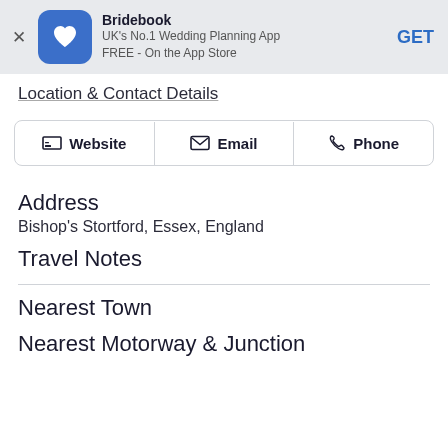[Figure (screenshot): Bridebook app banner with blue icon, name, description and GET button]
Location & Contact Details
Website | Email | Phone (contact buttons)
Address
Bishop's Stortford, Essex, England
Travel Notes
Nearest Town
Nearest Motorway & Junction